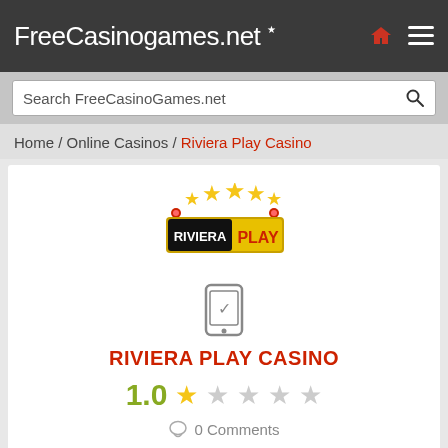FreeCasinoGames.net
Search FreeCasinoGames.net
Home / Online Casinos / Riviera Play Casino
[Figure (logo): Riviera Play Casino logo with stars and gold background]
[Figure (illustration): Mobile phone icon with checkmark]
RIVIERA PLAY CASINO
1.0 ★☆☆☆☆
0 Comments
Riviera Play Casino
IS CLOSED SINCE 01/09/2020